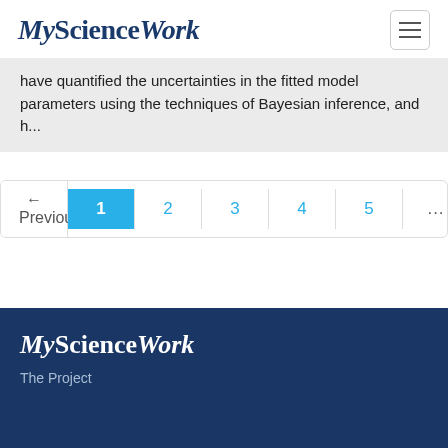MyScienceWork
have quantified the uncertainties in the fitted model parameters using the techniques of Bayesian inference, and h...
← Previous  1  2  3  4  5  ...  79  Next →
MyScienceWork
The Project